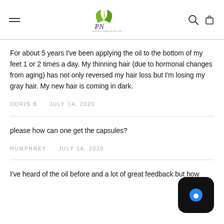Prickly Pear Nutrition — navigation header with logo, hamburger menu, search and cart icons
For about 5 years I've been applying the oil to the bottom of my feet 1 or 2 times a day. My thinning hair (due to hormonal changes from aging) has not only reversed my hair loss but I'm losing my gray hair. My new hair is coming in dark.
DORIS B   JULY 14, 2020
please how can one get the capsules?
HUMPHREY   JULY 14, 2020
I've heard of the oil before and a lot of great feedback but how
[Figure (screenshot): Chat/messaging app icon — black rounded square with blue speech bubble dot]